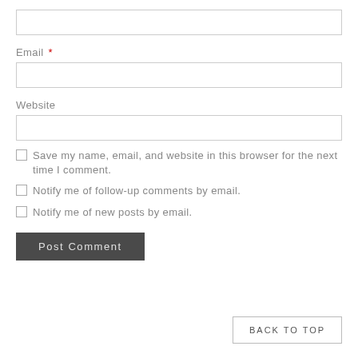[Figure (other): Empty text input box at the top of the form (Name field, no label visible)]
Email *
[Figure (other): Empty text input box for Email field]
Website
[Figure (other): Empty text input box for Website field]
Save my name, email, and website in this browser for the next time I comment.
Notify me of follow-up comments by email.
Notify me of new posts by email.
Post Comment
BACK TO TOP